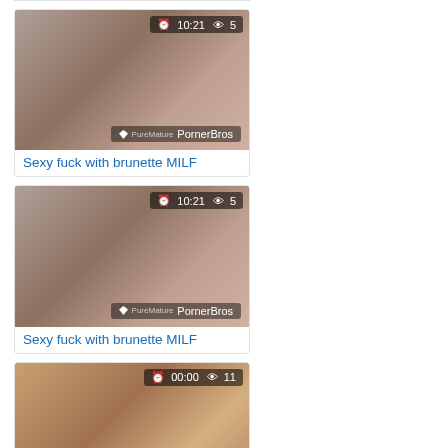[Figure (screenshot): Video thumbnail card 1: brunette MILF video thumbnail with duration 10:21 and 5 views, PornerBros watermark]
Sexy fuck with brunette MILF
[Figure (screenshot): Video thumbnail card 2: same brunette MILF video thumbnail with duration 10:21 and 5 views, PornerBros watermark]
Sexy fuck with brunette MILF
[Figure (screenshot): Video thumbnail card 3 (partial): brown-toned video thumbnail with duration 00:00 and 11 views]